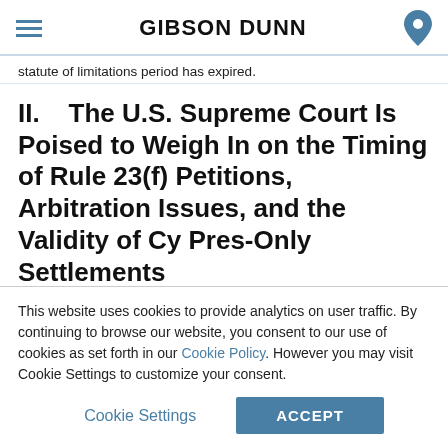GIBSON DUNN
statute of limitations period has expired.
II.    The U.S. Supreme Court Is Poised to Weigh In on the Timing of Rule 23(f) Petitions, Arbitration Issues, and the Validity of Cy Pres-Only Settlements
The Supreme Court's October 2018 Term promises to be another active one in the class action space, particularly on a number of bread-and-butter issues relating to class action procedure, settlement, and
This website uses cookies to provide analytics on user traffic. By continuing to browse our website, you consent to our use of cookies as set forth in our Cookie Policy. However you may visit Cookie Settings to customize your consent.